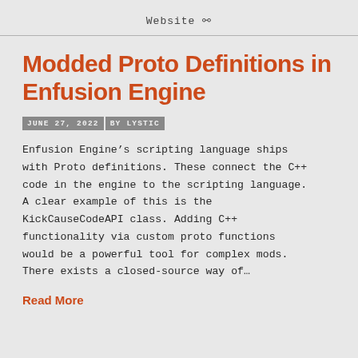Website
Modded Proto Definitions in Enfusion Engine
JUNE 27, 2022 BY LYSTIC
Enfusion Engine’s scripting language ships with Proto definitions. These connect the C++ code in the engine to the scripting language. A clear example of this is the KickCauseCodeAPI class. Adding C++ functionality via custom proto functions would be a powerful tool for complex mods. There exists a closed-source way of…
Read More